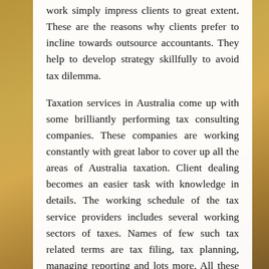work simply impress clients to great extent. These are the reasons why clients prefer to incline towards outsource accountants. They help to develop strategy skillfully to avoid tax dilemma.
Taxation services in Australia come up with some brilliantly performing tax consulting companies. These companies are working constantly with great labor to cover up all the areas of Australia taxation. Client dealing becomes an easier task with knowledge in details. The working schedule of the tax service providers includes several working sectors of taxes. Names of few such tax related terms are tax filing, tax planning, managing reporting and lots more. All these are related with several types of taxes like Corporate Tax, Personal Tax and even GST Tax applicable for Australia. The farm has firm determination to assure clients with all sorts of private taxes. Along with private taxes, they also help to deal...